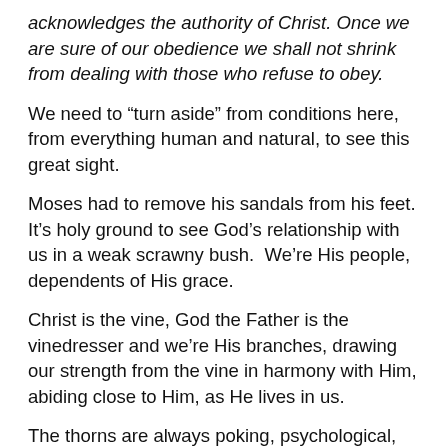acknowledges the authority of Christ. Once we are sure of our obedience we shall not shrink from dealing with those who refuse to obey.
We need to “turn aside” from conditions here, from everything human and natural, to see this great sight.
Moses had to remove his sandals from his feet. It’s holy ground to see God’s relationship with us in a weak scrawny bush.  We’re His people, dependents of His grace.
Christ is the vine, God the Father is the vinedresser and we’re His branches, drawing our strength from the vine in harmony with Him, abiding close to Him, as He lives in us.
The thorns are always poking, psychological, emotional, and physical thorns.  They’re there to point us to Jesus.